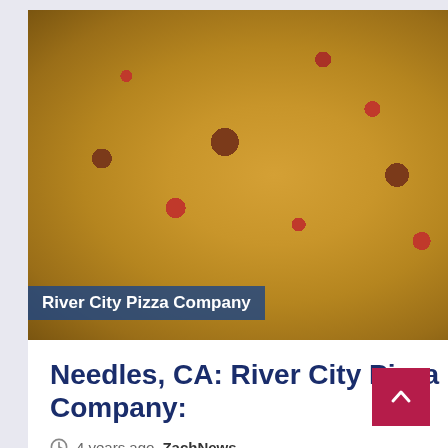[Figure (photo): Close-up photo of a pepperoni pizza with cheese, with a dark blue banner overlay reading 'River City Pizza Company']
Needles, CA: River City Pizza Company:
4 years ago  ZachNews
Craving for a delicious pepperoni with cheese pizza, fresh antipasto salad or hot chicken wings, then stop on into River...